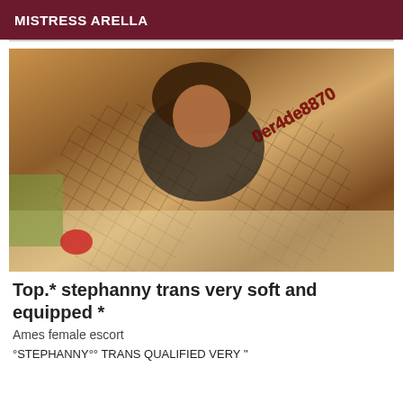MISTRESS ARELLA
[Figure (photo): Photo of a person wearing fishnet stockings and black outfit on a couch, with overlaid text '0er4de8870' in dark red]
Top.* stephanny trans very soft and equipped *
Ames female escort
°STEPHANNY°° TRANS QUALIFIED VERY "